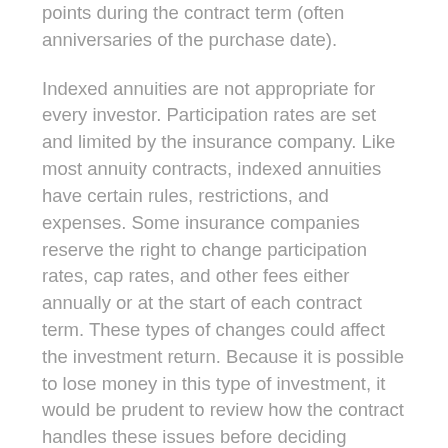points during the contract term (often anniversaries of the purchase date).
Indexed annuities are not appropriate for every investor. Participation rates are set and limited by the insurance company. Like most annuity contracts, indexed annuities have certain rules, restrictions, and expenses. Some insurance companies reserve the right to change participation rates, cap rates, and other fees either annually or at the start of each contract term. These types of changes could affect the investment return. Because it is possible to lose money in this type of investment, it would be prudent to review how the contract handles these issues before deciding whether to invest.
Most annuities have surrender charges that are assessed during the early years of the contract if the contract owner surrenders the annuity. In addition, withdrawals prior to age 59½ may be subject to a 10% federal income tax penalty. Any guarantees are